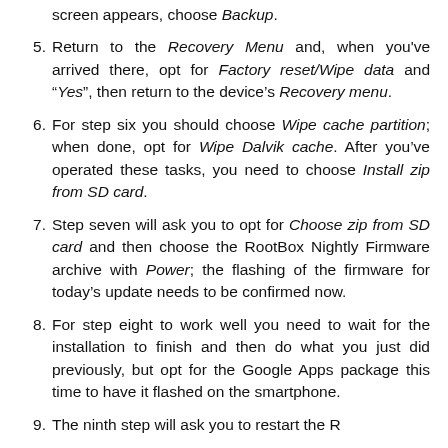screen appears, choose Backup.
5. Return to the Recovery Menu and, when you’ve arrived there, opt for Factory reset/Wipe data and “Yes”, then return to the device’s Recovery menu.
6. For step six you should choose Wipe cache partition; when done, opt for Wipe Dalvik cache. After you’ve operated these tasks, you need to choose Install zip from SD card.
7. Step seven will ask you to opt for Choose zip from SD card and then choose the RootBox Nightly Firmware archive with Power; the flashing of the firmware for today’s update needs to be confirmed now.
8. For step eight to work well you need to wait for the installation to finish and then do what you just did previously, but opt for the Google Apps package this time to have it flashed on the smartphone.
9. The ninth step will ask you to restart...